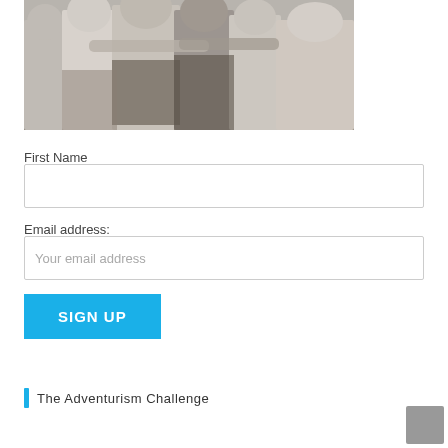[Figure (photo): Group of people standing with arms around each other, covered in mud or powder, viewed from behind]
First Name
Email address:
Your email address
SIGN UP
The Adventurism Challenge